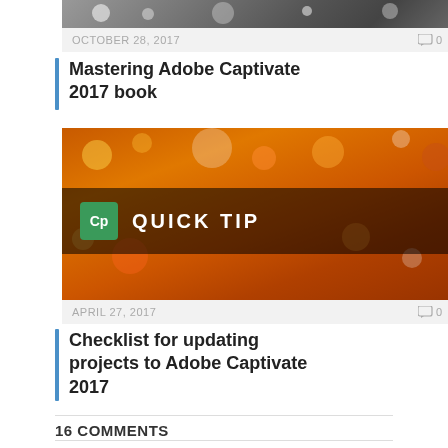[Figure (photo): Top portion of a dark/grey bokeh article thumbnail image, partially visible]
OCTOBER 28, 2017   0
Mastering Adobe Captivate 2017 book
[Figure (photo): Orange bokeh background with dark banner reading 'Cp QUICK TIP' — Adobe Captivate quick tip thumbnail]
APRIL 27, 2017   0
Checklist for updating projects to Adobe Captivate 2017
16 COMMENTS
MARK on MAY 30, 2009 4:02 AM